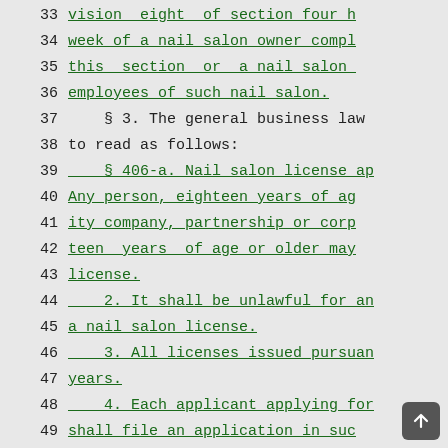33   vision  eight  of section four h…
34   week of a nail salon owner compl…
35   this  section  or  a nail salon …
36   employees of such nail salon.
37       § 3. The general business law …
38   to read as follows:
39       § 406-a. Nail salon license ap…
40   Any person, eighteen years of ag…
41   ity company, partnership or corp…
42   teen  years  of age or older may…
43   license.
44       2. It shall be unlawful for an…
45   a nail salon license.
46       3. All licenses issued pursuan…
47   years.
48       4. Each applicant applying for…
49   shall file an application in suc…
50   secretary  and  shall pay a fee …